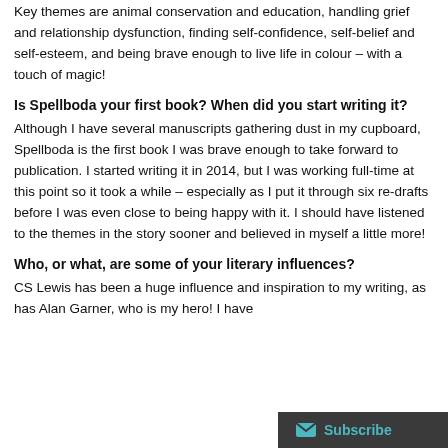Key themes are animal conservation and education, handling grief and relationship dysfunction, finding self-confidence, self-belief and self-esteem, and being brave enough to live life in colour – with a touch of magic!
Is Spellboda your first book? When did you start writing it?
Although I have several manuscripts gathering dust in my cupboard, Spellboda is the first book I was brave enough to take forward to publication. I started writing it in 2014, but I was working full-time at this point so it took a while – especially as I put it through six re-drafts before I was even close to being happy with it. I should have listened to the themes in the story sooner and believed in myself a little more!
Who, or what, are some of your literary influences?
CS Lewis has been a huge influence and inspiration to my writing, as has Alan Garner, who is my hero! I have